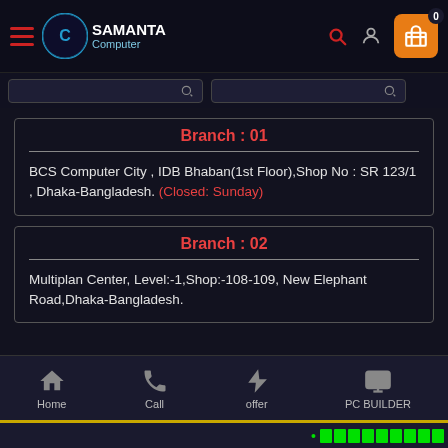[Figure (screenshot): Samanta Computer website header navigation bar with hamburger menu, logo, search icon, user icon, and orange shopping cart with badge showing 0]
Branch : 01
BCS Computer City , IDB Bhaban(1st Floor),Shop No : SR 123/1 , Dhaka-Bangladesh. (Closed: Sunday)
Branch : 02
Multiplan Center, Level:-1,Shop:-108-109, New Elephant Road,Dhaka-Bangladesh.
Home  Call  offer  PC BUILDER